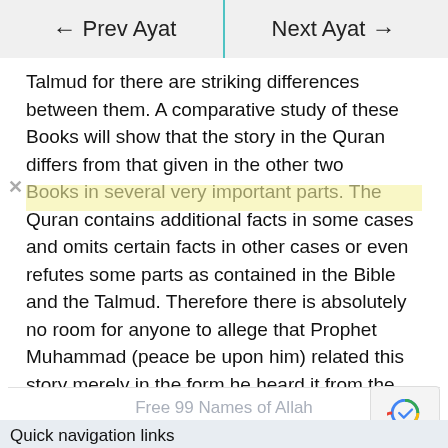← Prev Ayat | Next Ayat →
Talmud for there are striking differences between them. A comparative study of these Books will show that the story in the Quran differs from that given in the other two Books in several very important parts. The Quran contains additional facts in some cases and omits certain facts in other cases or even refutes some parts as contained in the Bible and the Talmud. Therefore there is absolutely no room for anyone to allege that Prophet Muhammad (peace be upon him) related this story merely in the form he heard it from the Israelites.
Free 99 Names of Allah Course
Quick navigation links